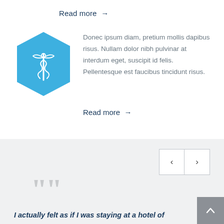Read more →
[Figure (illustration): Blue hexagon icon with a caduceus (medical symbol) in white]
Donec ipsum diam, pretium mollis dapibus risus. Nullam dolor nibh pulvinar at interdum eget, suscipit id felis. Pellentesque est faucibus tincidunt risus.
Read more →
[Figure (illustration): Large decorative quotation marks in light gray]
I actually felt as if I was staying at a hotel of